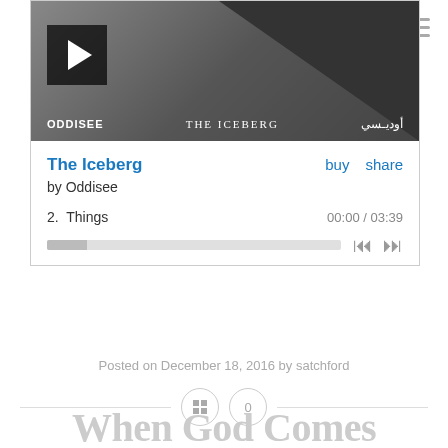[Figure (screenshot): Music player embed for 'The Iceberg' by Oddisee on Bandcamp. Shows album cover art (dark grey with triangle graphic), artist name ODDISEE, album title THE ICEBERG and Arabic text. Below shows track listing: 2. Things, 00:00 / 03:39, with play progress bar and prev/next controls. Buy and share links visible.]
The Iceberg
buy  share
by Oddisee
2.  Things
00:00 / 03:39
Posted on December 18, 2016 by satchford
0
When God Comes